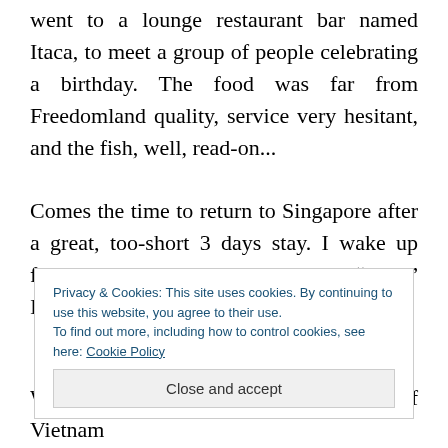went to a lounge restaurant bar named Itaca, to meet a group of people celebrating a birthday. The food was far from Freedomland quality, service very hesitant, and the fish, well, read-on...
Comes the time to return to Singapore after a great, too-short 3 days stay. I wake up feeling bloated, and a bit nauseous. “Fuck” I think, not t
Privacy & Cookies: This site uses cookies. By continuing to use this website, you agree to their use.
To find out more, including how to control cookies, see here: Cookie Policy
Close and accept
We arrive at the check-in counter of Vietnam